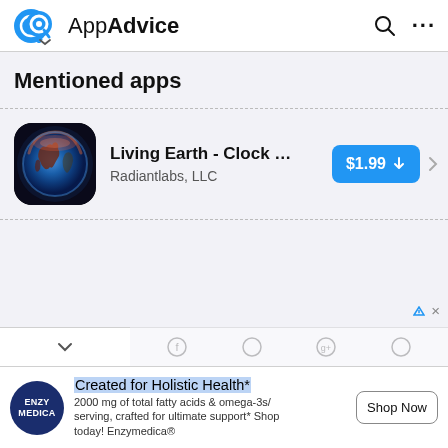AppAdvice
Mentioned apps
[Figure (screenshot): App listing card showing Living Earth - Clock & Weath... by Radiantlabs, LLC with a $1.99 buy button and app icon showing a glowing Earth]
Created for Holistic Health* 2000 mg of total fatty acids & omega-3s/ serving, crafted for ultimate support* Shop today! Enzymedica®